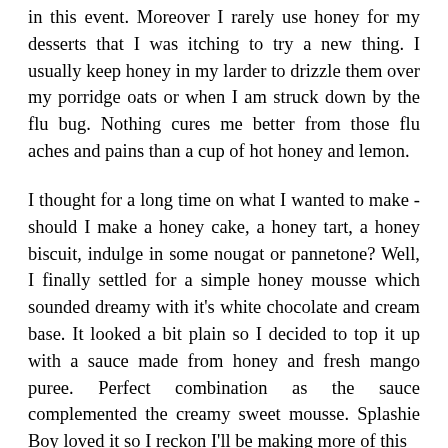in this event. Moreover I rarely use honey for my desserts that I was itching to try a new thing. I usually keep honey in my larder to drizzle them over my porridge oats or when I am struck down by the flu bug. Nothing cures me better from those flu aches and pains than a cup of hot honey and lemon.

I thought for a long time on what I wanted to make - should I make a honey cake, a honey tart, a honey biscuit, indulge in some nougat or pannetone? Well, I finally settled for a simple honey mousse which sounded dreamy with it's white chocolate and cream base. It looked a bit plain so I decided to top it up with a sauce made from honey and fresh mango puree. Perfect combination as the sauce complemented the creamy sweet mousse. Splashie Boy loved it so I reckon I'll be making more of this